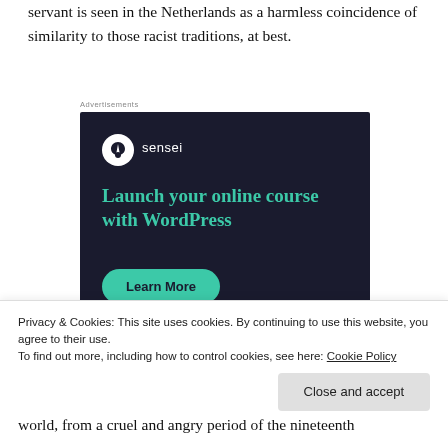servant is seen in the Netherlands as a harmless coincidence of similarity to those racist traditions, at best.
[Figure (screenshot): Advertisement for Sensei plugin. Dark navy background with Sensei logo (white circle with tree icon), text 'Launch your online course with WordPress' in teal, and a teal 'Learn More' button. Small 'Advertisements' label above the ad box.]
Privacy & Cookies: This site uses cookies. By continuing to use this website, you agree to their use.
To find out more, including how to control cookies, see here: Cookie Policy
world, from a cruel and angry period of the nineteenth